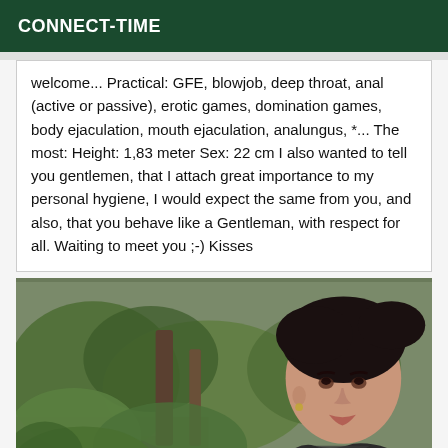CONNECT-TIME
welcome... Practical: GFE, blowjob, deep throat, anal (active or passive), erotic games, domination games, body ejaculation, mouth ejaculation, analungus, *... The most: Height: 1,83 meter Sex: 22 cm I also wanted to tell you gentlemen, that I attach great importance to my personal hygiene, I would expect the same from you, and also, that you behave like a Gentleman, with respect for all. Waiting to meet you ;-) Kisses
[Figure (photo): Woman with dark hair pulled back, photographed outdoors with green foliage and trees in the background.]